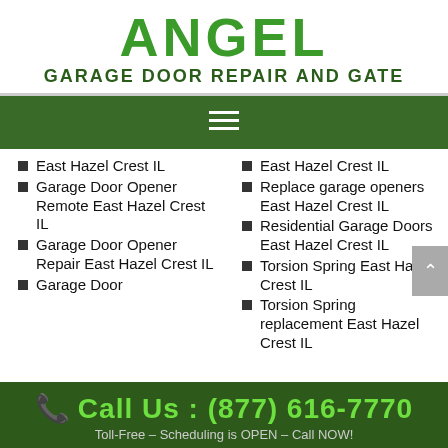ANGEL
GARAGE DOOR REPAIR AND GATE
East Hazel Crest IL
Garage Door Opener Remote East Hazel Crest IL
Garage Door Opener Repair East Hazel Crest IL
Garage Door
East Hazel Crest IL
Replace garage openers East Hazel Crest IL
Residential Garage Doors East Hazel Crest IL
Torsion Spring East Hazel Crest IL
Torsion Spring replacement East Hazel Crest IL
Call Us : (877) 616-7770
Toll-Free – Scheduling is OPEN – Call NOW!